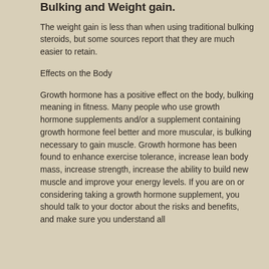Bulking and Weight gain.
The weight gain is less than when using traditional bulking steroids, but some sources report that they are much easier to retain.
Effects on the Body
Growth hormone has a positive effect on the body, bulking meaning in fitness. Many people who use growth hormone supplements and/or a supplement containing growth hormone feel better and more muscular, is bulking necessary to gain muscle. Growth hormone has been found to enhance exercise tolerance, increase lean body mass, increase strength, increase the ability to build new muscle and improve your energy levels. If you are on or considering taking a growth hormone supplement, you should talk to your doctor about the risks and benefits, and make sure you understand all